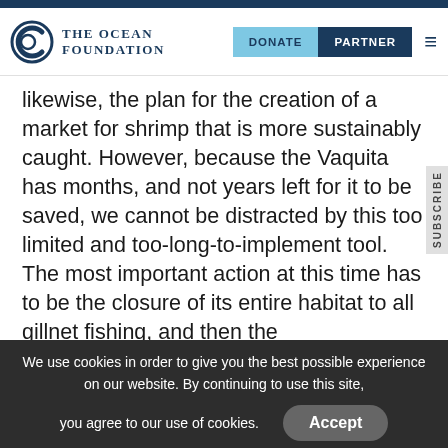The Ocean Foundation — DONATE | PARTNER
likewise, the plan for the creation of a market for shrimp that is more sustainably caught. However, because the Vaquita has months, and not years left for it to be saved, we cannot be distracted by this too limited and too-long-to-implement tool.  The most important action at this time has to be the closure of its entire habitat to all gillnet fishing, and then the implementation of robust enforcement
We use cookies in order to give you the best possible experience on our website. By continuing to use this site, you agree to our use of cookies.
Accept
Read More...